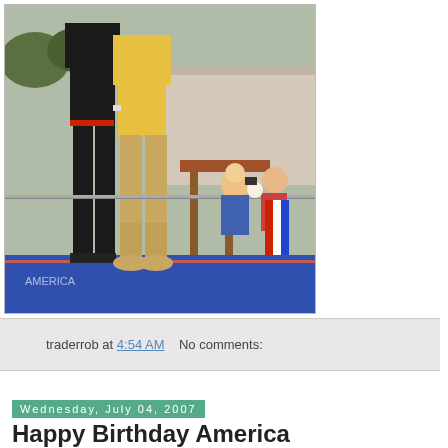[Figure (photo): Two people standing on a blue stage platform outdoors. One person wears a black shirt and black pants, the other wears a yellow short-sleeve shirt and khaki pants. Crowd with cameras visible in background behind a metal barrier. Wooden bar stools visible on stage.]
traderrob at 4:54 AM   No comments:
Wednesday, July 04, 2007
Happy Birthday America